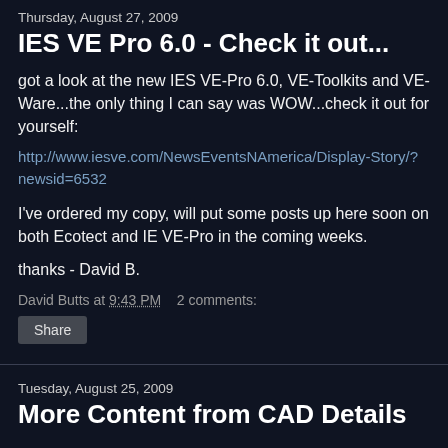Thursday, August 27, 2009
IES VE Pro 6.0 - Check it out...
got a look at the new IES VE-Pro 6.0, VE-Toolkits and VE-Ware...the only thing I can say was WOW...check it out for yourself:
http://www.iesve.com/NewsEventsNAmerica/Display-Story/?newsid=6532
I've ordered my copy, will put some posts up here soon on both Ecotect and IE VE-Pro in the coming weeks.
thanks - David B.
David Butts at 9:43 PM    2 comments:
Share
Tuesday, August 25, 2009
More Content from CAD Details